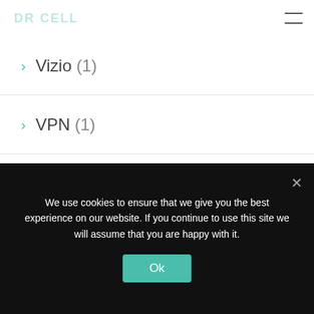DR CELL
Vizio (1)
VPN (1)
VRS (1)
Watch 3 (1)
Watch Faces (1)
Wear OS 3.0 (1)
Wearables (31)
Whatsapp (2)
We use cookies to ensure that we give you the best experience on our website. If you continue to use this site we will assume that you are happy with it.